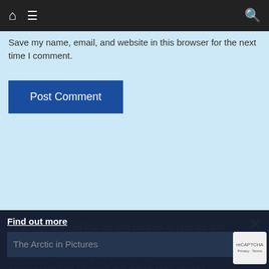🏠 ☰ 🔍
Save my name, email, and website in this browser for the next time I comment.
Post Comment
Please be advised that we use cookies to operate and enhance our services as well as for advertising purposes. We value your privacy. If you are not comfortable with us using this information, please review your settings before continuing your visit.
Manage your navigation settings
Find out more
The Arctic in Pictures